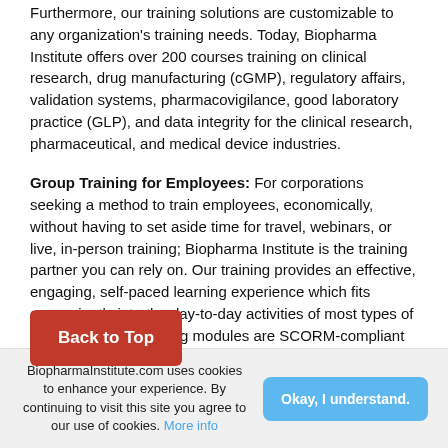Furthermore, our training solutions are customizable to any organization's training needs. Today, Biopharma Institute offers over 200 courses training on clinical research, drug manufacturing (cGMP), regulatory affairs, validation systems, pharmacovigilance, good laboratory practice (GLP), and data integrity for the clinical research, pharmaceutical, and medical device industries.
Group Training for Employees: For corporations seeking a method to train employees, economically, without having to set aside time for travel, webinars, or live, in-person training; Biopharma Institute is the training partner you can rely on. Our training provides an effective, engaging, self-paced learning experience which fits conveniently into the day-to-day activities of most types of learners. Our eLearning modules are SCORM-compliant and can be delivered from [your or]ning management systems (LMS). We [support sm]all-scale and large-scale training requests, with the same goal in mind: To make this a good
Back to Top
BiopharmaInstitute.com uses cookies to enhance your experience. By continuing to visit this site you agree to our use of cookies. More info
Okay, I understand.